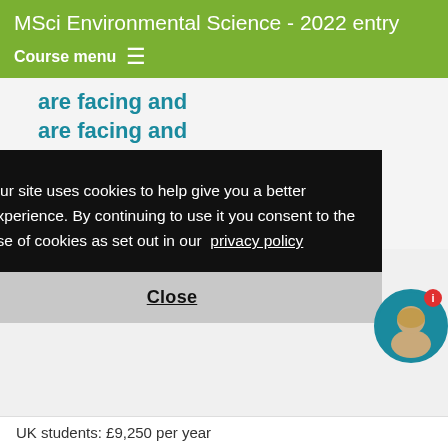MSci Environmental Science - 2022 entry
Course menu
are facing and how we can resolve that.
Cheryl, from Singapore
BSc Environmental
Our site uses cookies to help give you a better experience. By continuing to use it you consent to the use of cookies as set out in our privacy policy
Close
UK students: £9,250 per year